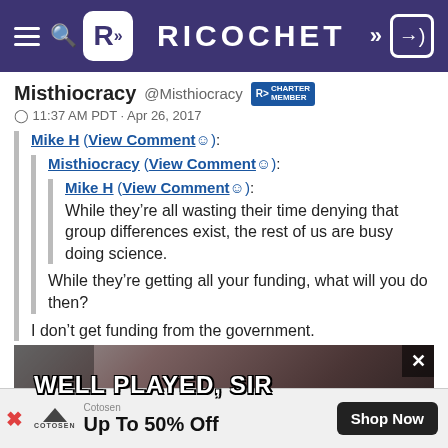RICOCHET
Misthiocracy @Misthiocracy [Charter Member badge]
11:37 AM PDT · Apr 26, 2017
Mike H (View Comment☺):
  Misthiocracy (View Comment☺):
    Mike H (View Comment☺):
    While they're all wasting their time denying that group differences exist, the rest of us are busy doing science.
  While they're getting all your funding, what will you do then?
I don't get funding from the government.
[Figure (photo): Meme image with text 'WELL PLAYED, SIR' overlaid on a dark background with what appears to be a cat or animal figure]
Cotosen
Up To 50% Off  [Shop Now button]